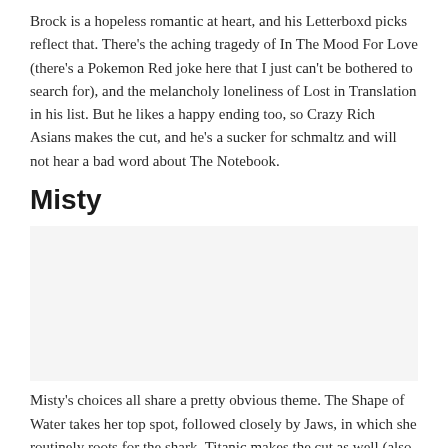Brock is a hopeless romantic at heart, and his Letterboxd picks reflect that. There's the aching tragedy of In The Mood For Love (there's a Pokemon Red joke here that I just can't be bothered to search for), and the melancholy loneliness of Lost in Translation in his list. But he likes a happy ending too, so Crazy Rich Asians makes the cut, and he's a sucker for schmaltz and will not hear a bad word about The Notebook.
Misty
[Figure (other): Image placeholder area for Misty section]
Misty's choices all share a pretty obvious theme. The Shape of Water takes her top spot, followed closely by Jaws, in which she routinely roots for the shark. Titanic makes the cut as well (also one of Brock's favourites), as does Aquamarine, because Misty doesn't believe in guilty pleasures. She was thoroughly